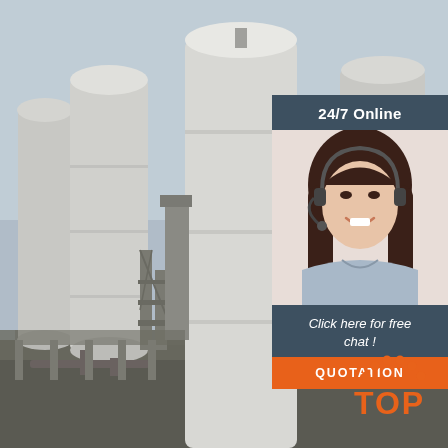[Figure (photo): Industrial facility with large white cylindrical silos/tanks and metal scaffolding structures, overcast sky in background]
[Figure (infographic): Customer service widget with '24/7 Online' header, photo of smiling woman with headset, 'Click here for free chat!' text, and orange QUOTATION button]
[Figure (logo): TOP logo with orange arc of dots above the word TOP in orange text]